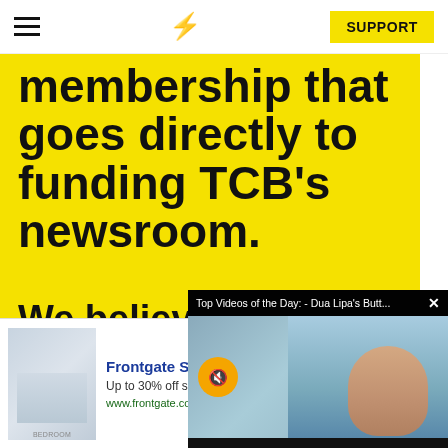TCB — SUPPORT
membership that goes directly to funding TCB's newsroom.
We believe that reporting
can save th...
[Figure (screenshot): Video overlay popup: 'Top Videos of the Day: - Dua Lipa's Butt...' with close X button, muted video playing showing person near pool]
[Figure (screenshot): Advertisement banner: Frontgate SALES - Up to 30% off sitewide from August 23-25 - www.frontgate.com, with bedroom image and navigation arrow]